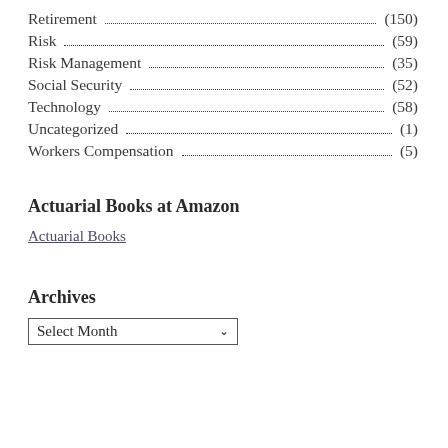Retirement (150)
Risk (59)
Risk Management (35)
Social Security (52)
Technology (58)
Uncategorized (1)
Workers Compensation (5)
Actuarial Books at Amazon
Actuarial Books
Archives
Select Month